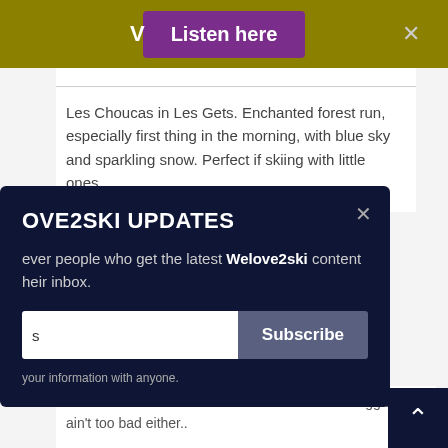V  Listen here  ×
Les Choucas in Les Gets. Enchanted forest run, especially first thing in the morning, with blue sky and sparkling snow. Perfect if skiing with little ones.
OVE2SKI UPDATES
ever people who get the latest Welove2ski content heir inbox.
your information with anyone.
on forever! The Red to black from Trockener Stegg to run ain't too bad either..